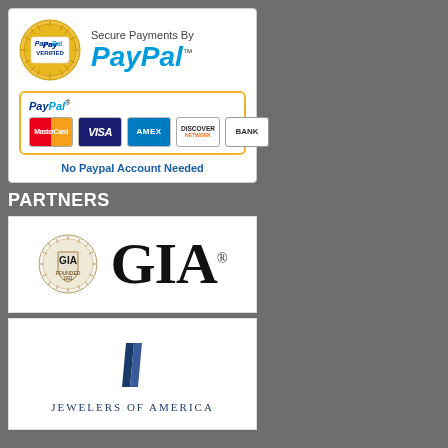[Figure (logo): PayPal Verified seal and Secure Payments By PayPal logo]
[Figure (logo): PayPal payment options box showing MasterCard, Visa, Amex, Discover, Bank cards with 'No Paypal Account Needed' text]
PARTNERS
[Figure (logo): GIA (Gemological Institute of America) logo with circular seal and large GIA lettering]
[Figure (logo): Jewelers of America logo with blue column/bar icon and text JEWELERS OF AMERICA]